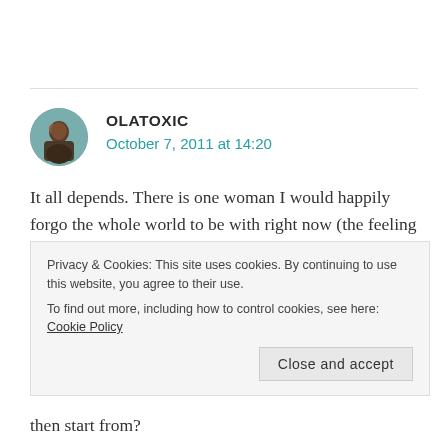[Figure (photo): Circular avatar photo of user OLATOXIC]
OLATOXIC
October 7, 2011 at 14:20
It all depends. There is one woman I would happily forgo the whole world to be with right now (the feeling is mutual) and the odds are stacked very, very heavily against the possibility of an us. I wonder daily whether the colossal fight it would require for us to fight for the happiness we would undoubtedly have together would be worth it or not and whether that
Privacy & Cookies: This site uses cookies. By continuing to use this website, you agree to their use.
To find out more, including how to control cookies, see here: Cookie Policy
Close and accept
then start from?